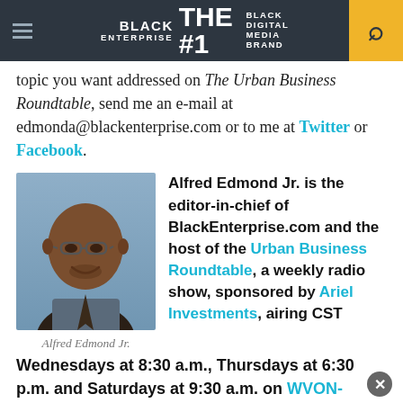BLACK ENTERPRISE THE #1 BLACK DIGITAL MEDIA BRAND
topic you want addressed on The Urban Business Roundtable, send me an e-mail at edmonda@blackenterprise.com or to me at Twitter or Facebook.
[Figure (photo): Headshot photo of Alfred Edmond Jr., a man wearing glasses and a suit, smiling.]
Alfred Edmond Jr.
Alfred Edmond Jr. is the editor-in-chief of BlackEnterprise.com and the host of the Urban Business Roundtable, a weekly radio show, sponsored by Ariel Investments, airing CST Wednesdays at 8:30 a.m., Thursdays at 6:30 p.m. and Saturdays at 9:30 a.m. on WVON-